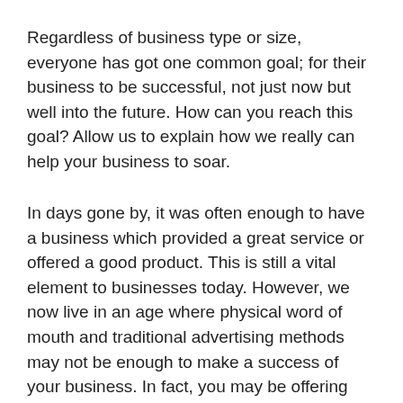Regardless of business type or size, everyone has got one common goal; for their business to be successful, not just now but well into the future. How can you reach this goal? Allow us to explain how we really can help your business to soar.
In days gone by, it was often enough to have a business which provided a great service or offered a good product. This is still a vital element to businesses today. However, we now live in an age where physical word of mouth and traditional advertising methods may not be enough to make a success of your business. In fact, you may be offering the best in your field, but without the right marketing, potential customers may not even know that you exist!